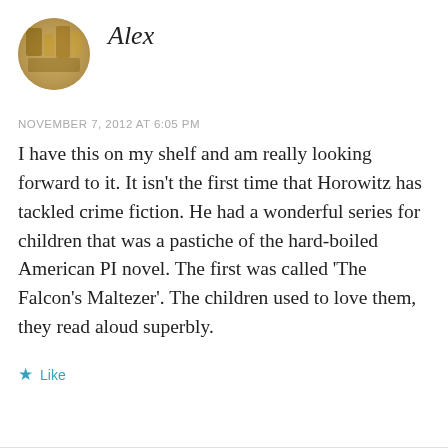[Figure (photo): Circular avatar photo of Alex, showing a warm-toned image with golden/amber colors, appears to be objects or artwork in the background.]
Alex
NOVEMBER 7, 2012 AT 6:05 PM
I have this on my shelf and am really looking forward to it. It isn’t the first time that Horowitz has tackled crime fiction. He had a wonderful series for children that was a pastiche of the hard-boiled American PI novel. The first was called ‘The Falcon’s Maltezer’. The children used to love them, they read aloud superbly.
★ Like